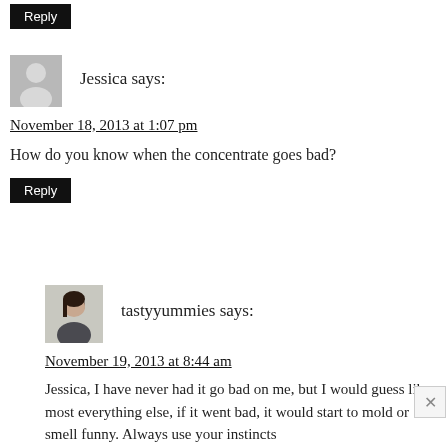Reply
Jessica says:
November 18, 2013 at 1:07 pm
How do you know when the concentrate goes bad?
Reply
[Figure (photo): Profile photo of tastyyummies - woman with dark hair]
tastyyummies says:
November 19, 2013 at 8:44 am
Jessica, I have never had it go bad on me, but I would guess like most everything else, if it went bad, it would start to mold or smell funny. Always use your instincts with that kind of stuff!